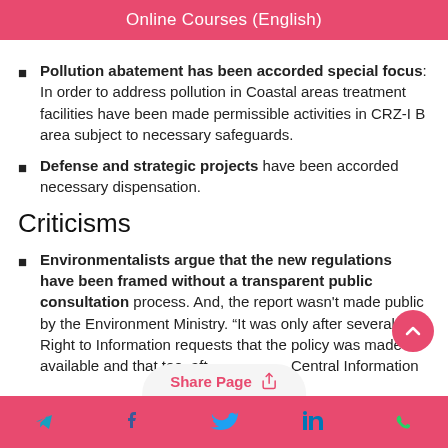Online Courses (English)
Pollution abatement has been accorded special focus: In order to address pollution in Coastal areas treatment facilities have been made permissible activities in CRZ-I B area subject to necessary safeguards.
Defense and strategic projects have been accorded necessary dispensation.
Criticisms
Environmentalists argue that the new regulations have been framed without a transparent public consultation process. And, the report wasn't made public by the Environment Ministry. "It was only after several Right to Information requests that the policy was made available and that too, after... Central Information
Share Page | social icons